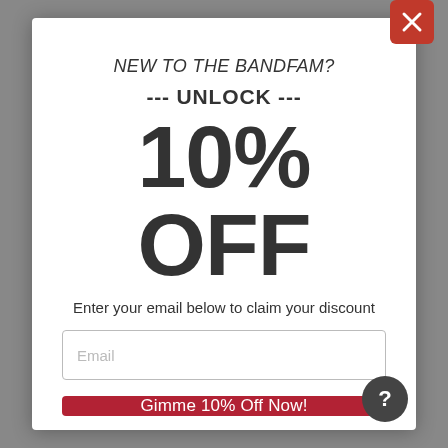NEW TO THE BANDFAM?
--- UNLOCK ---
10% OFF
Enter your email below to claim your discount
Email
Gimme 10% Off Now!